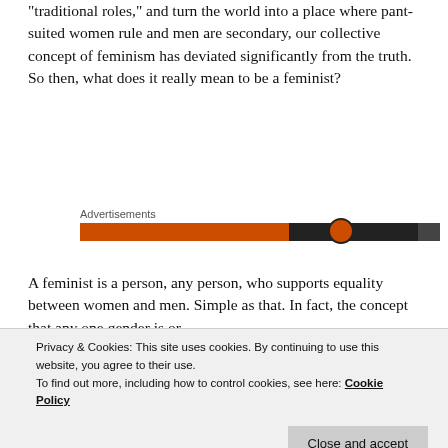“traditional roles,” and turn the world into a place where pant-suited women rule and men are secondary, our collective concept of feminism has deviated significantly from the truth. So then, what does it really mean to be a feminist?
[Figure (other): Advertisement banner with orange and dark colored horizontal bar]
A feminist is a person, any person, who supports equality between women and men. Simple as that. In fact, the concept that any one gender is or
Privacy & Cookies: This site uses cookies. By continuing to use this website, you agree to their use.
To find out more, including how to control cookies, see here: Cookie Policy
woman can and should be exactly the same, they’re